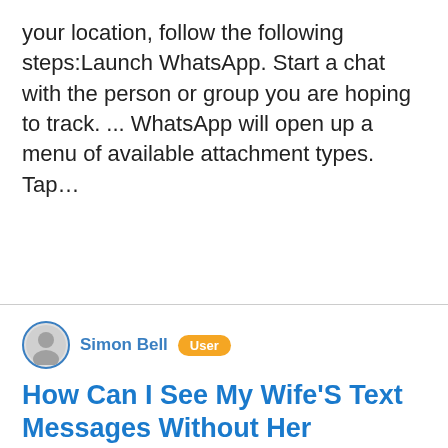your location, follow the following steps:Launch WhatsApp. Start a chat with the person or group you are hoping to track. ... WhatsApp will open up a menu of available attachment types. Tap…
Simon Bell  User
How Can I See My Wife'S Text Messages Without Her Knowing?
Can i spy on a phone with just the number? Is it possible to spy on an Android cell phone without having it.Aside from using emails or text messages to do this, no.it is not possible to spy on Android without touching the target device.. Can you spy on someones phone without installing